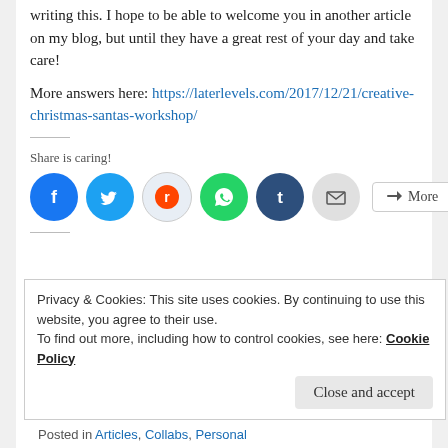writing this. I hope to be able to welcome you in another article on my blog, but until they have a great rest of your day and take care!
More answers here: https://laterlevels.com/2017/12/21/creative-christmas-santas-workshop/
Share is caring!
[Figure (other): Social sharing icons: Facebook, Twitter, Reddit, WhatsApp, Tumblr, Email, and a More button]
Privacy & Cookies: This site uses cookies. By continuing to use this website, you agree to their use. To find out more, including how to control cookies, see here: Cookie Policy
Close and accept
Posted in Articles, Collabs, Personal